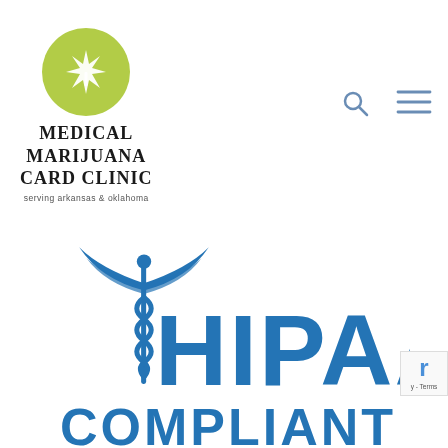[Figure (logo): Medical Marijuana Card Clinic logo with green circle containing a white cannabis leaf icon, text 'MEDICAL MARIJUANA CARD CLINIC' in serif bold, subtitle 'serving arkansas & oklahoma']
[Figure (other): Search icon (magnifying glass) in steel blue]
[Figure (other): Hamburger menu icon (three horizontal lines) in steel blue]
[Figure (logo): HIPAA Compliant logo with blue caduceus medical symbol and large blue text 'HIPAA' partially visible, 'COMPLIANT' text cut off at bottom]
[Figure (other): reCAPTCHA badge partially visible at right edge with 'r' logo and 'Terms' text]